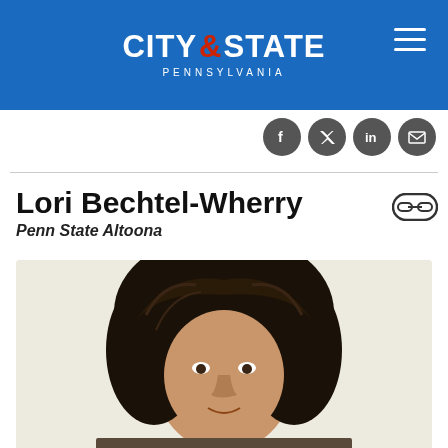CITY & STATE PENNSYLVANIA
Lori Bechtel-Wherry
Penn State Altoona
[Figure (photo): Portrait photo of Lori Bechtel-Wherry, a woman with dark curly hair, against a light background]